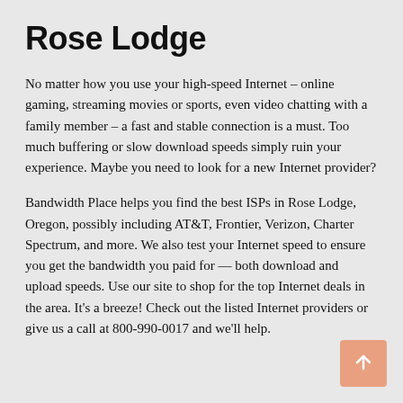Rose Lodge
No matter how you use your high-speed Internet – online gaming, streaming movies or sports, even video chatting with a family member – a fast and stable connection is a must. Too much buffering or slow download speeds simply ruin your experience. Maybe you need to look for a new Internet provider?
Bandwidth Place helps you find the best ISPs in Rose Lodge, Oregon, possibly including AT&T, Frontier, Verizon, Charter Spectrum, and more. We also test your Internet speed to ensure you get the bandwidth you paid for — both download and upload speeds. Use our site to shop for the top Internet deals in the area. It's a breeze! Check out the listed Internet providers or give us a call at 800-990-0017 and we'll help.